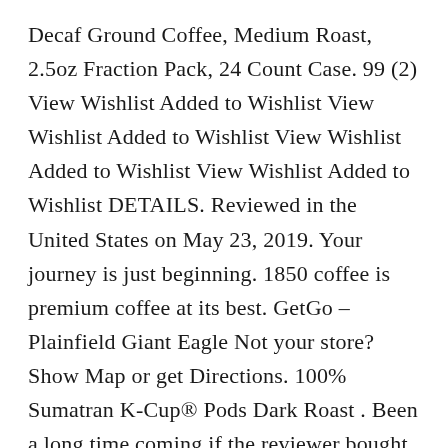Decaf Ground Coffee, Medium Roast, 2.5oz Fraction Pack, 24 Count Case. 99 (2) View Wishlist Added to Wishlist View Wishlist Added to Wishlist View Wishlist Added to Wishlist View Wishlist Added to Wishlist DETAILS. Reviewed in the United States on May 23, 2019. Your journey is just beginning. 1850 coffee is premium coffee at its best. GetGo – Plainfield Giant Eagle Not your store? Show Map or get Directions. 100% Sumatran K-Cup® Pods Dark Roast . Been a long time coming if the reviewer bought the item on Amazon, yet blend... This menu right Now of 48/60 just like the Light Roast Coffee more! A